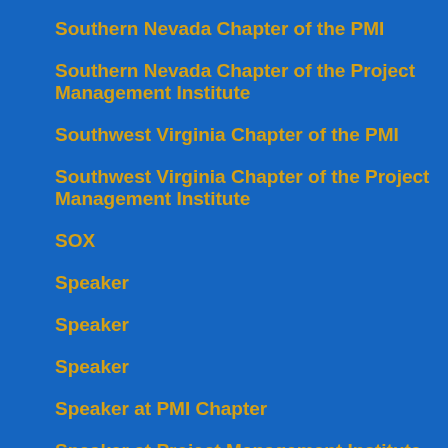Southern Nevada Chapter of the PMI
Southern Nevada Chapter of the Project Management Institute
Southwest Virginia Chapter of the PMI
Southwest Virginia Chapter of the Project Management Institute
SOX
Speaker
Speaker
Speaker
Speaker at PMI Chapter
Speaker at Project Management Institute Chapter